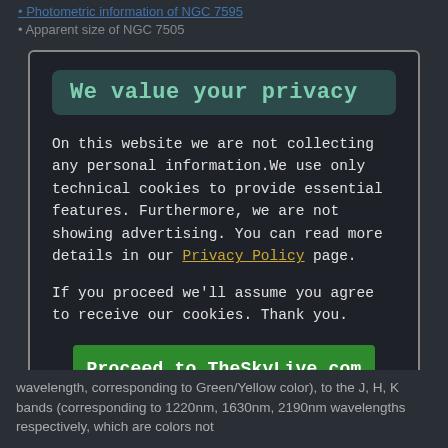Photometric information of NGC 7595
Apparent size of NGC 7505
We value your privacy
On this website we are not collecting any personal information.We use only technical cookies to provide essential features. Furthermore, we are not showing advertising. You can read more details in our Privacy Policy page.
If you proceed we'll assume you agree to receive our cookies. Thank you.
Proceed to TheSkyLive.com
wavelength, corresponding to Green/Yellow color), to the J, H, K bands (corresponding to 1220nm, 1630nm, 2190nm wavelengths respectively, which are colors not